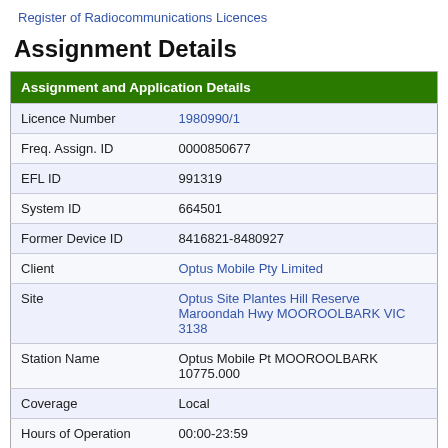Register of Radiocommunications Licences
Assignment Details
| Assignment and Application Details |  |
| --- | --- |
| Licence Number | 1980990/1 |
| Freq. Assign. ID | 0000850677 |
| EFL ID | 991319 |
| System ID | 664501 |
| Former Device ID | 8416821-8480927 |
| Client | Optus Mobile Pty Limited |
| Site | Optus Site Plantes Hill Reserve Maroondah Hwy MOOROOLBARK VIC 3138 |
| Station Name | Optus Mobile Pt MOOROOLBARK 10775.000 |
| Coverage | Local |
| Hours of Operation | 00:00-23:59 |
| Status | Granted |